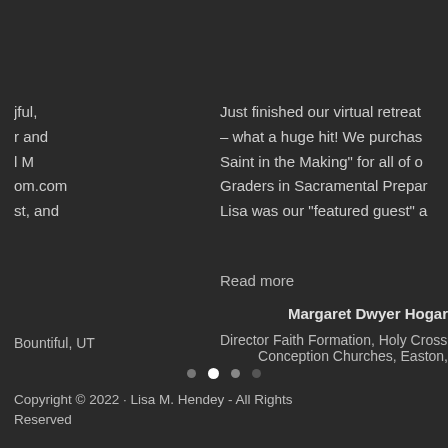jful, r and l M om.com st, and
Just finished our virtual retreat – what a huge hit!  We purchas Saint in the Making” for all of ou Graders in Sacramental Prepar Lisa was our “featured guest” a
Read more
Margaret Dwyer Hogar
Bountiful, UT
Director Faith Formation, Holy Cross & Conception Churches, Easton,
Copyright © 2022 · Lisa M. Hendey - All Rights Reserved